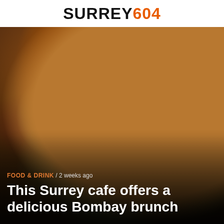SURREY604
[Figure (photo): Close-up food photograph of a brunch dish with eggs Benedict covered in hollandaise sauce, thick-cut potato wedges, and sliced avocado, served in a white bowl with a small ramekin of sauce on the side.]
FOOD & DRINK / 2 weeks ago
This Surrey cafe offers a delicious Bombay brunch